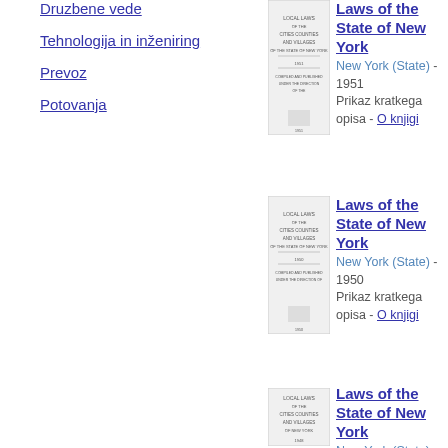Druzbene vede
Tehnologija in inženiring
Prevoz
Potovanja
[Figure (illustration): Thumbnail of book cover for Laws of the State of New York, 1951 edition]
Laws of the State of New York
New York (State) - 1951
Prikaz kratkega opisa - O knjigi
[Figure (illustration): Thumbnail of book cover for Laws of the State of New York, 1950 edition]
Laws of the State of New York
New York (State) - 1950
Prikaz kratkega opisa - O knjigi
[Figure (illustration): Thumbnail of book cover for Laws of the State of New York, 1949 edition]
Laws of the State of New York
New York (State) - 1949
Prikaz kratkega opisa - O knjigi
[Figure (illustration): Thumbnail of book cover for Laws of the State of New York, partial view]
Laws of the State of